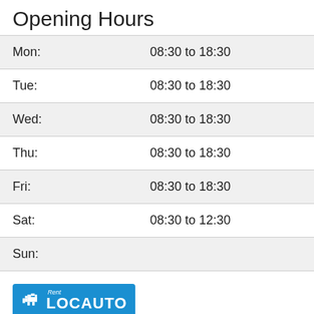Opening Hours
| Day | Hours |
| --- | --- |
| Mon: | 08:30 to 18:30 |
| Tue: | 08:30 to 18:30 |
| Wed: | 08:30 to 18:30 |
| Thu: | 08:30 to 18:30 |
| Fri: | 08:30 to 18:30 |
| Sat: | 08:30 to 12:30 |
| Sun: |  |
[Figure (logo): LocAuto Rent logo — blue rectangle with white elephant icon and text LOCAUTO with Rent above]
LocAuto Rent A Car
Via Immacolata Di Lourdes 111
Treviso
Italy